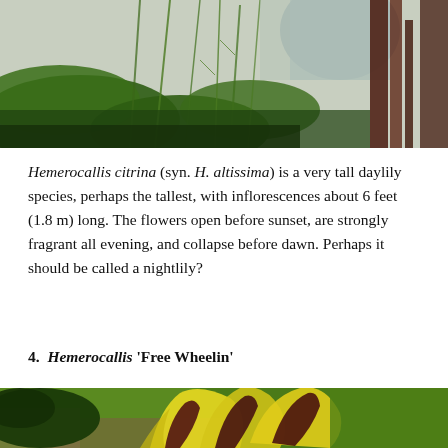[Figure (photo): Top portion of a photo showing tall green foliage/plants, likely Hemerocallis citrina (daylily) stems and leaves in a garden setting, with dark reddish plant stems visible on the right side.]
Hemerocallis citrina (syn. H. altissima) is a very tall daylily species, perhaps the tallest, with inflorescences about 6 feet (1.8 m) long.  The flowers open before sunset, are strongly fragrant all evening, and collapse before dawn.  Perhaps it should be called a nightlily?
4.  Hemerocallis 'Free Wheelin'
[Figure (photo): Bottom portion of a photo showing a yellow and dark burgundy/maroon striped daylily flower (Hemerocallis 'Free Wheelin') with curled petals, a large green leaf to the left, and green lawn/grass in the background.]